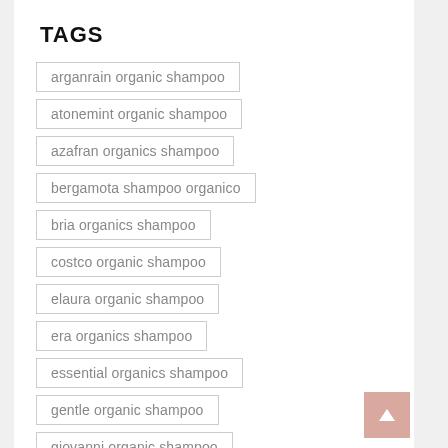TAGS
arganrain organic shampoo
atonemint organic shampoo
azafran organics shampoo
bergamota shampoo organico
bria organics shampoo
costco organic shampoo
elaura organic shampoo
era organics shampoo
essential organics shampoo
gentle organic shampoo
giovanni organic shampoo
head organics shampoo